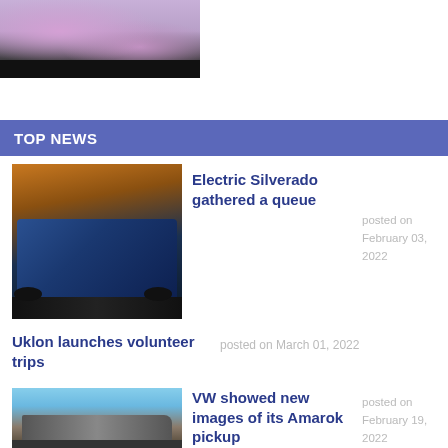[Figure (photo): Partial view of a painting or illustration with purple/pink floral tones and a dark bar at the bottom]
TOP NEWS
[Figure (photo): Blue Chevrolet Silverado electric pickup truck on a dark background with orange lighting]
Electric Silverado gathered a queue
posted on February 03, 2022
Uklon launches volunteer trips
posted on March 01, 2022
[Figure (photo): VW Amarok pickup truck on a road with blue sky]
VW showed new images of its Amarok pickup
posted on February 19, 2022